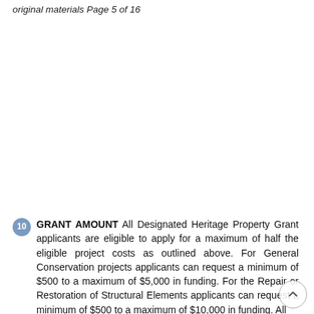original materials Page 5 of 16
10 GRANT AMOUNT All Designated Heritage Property Grant applicants are eligible to apply for a maximum of half the eligible project costs as outlined above. For General Conservation projects applicants can request a minimum of $500 to a maximum of $5,000 in funding. For the Repair or Restoration of Structural Elements applicants can request a minimum of $500 to a maximum of $10,000 in funding. All